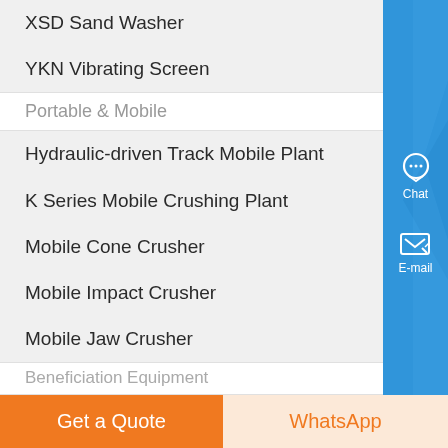XSD Sand Washer
YKN Vibrating Screen
Portable & Mobile
Hydraulic-driven Track Mobile Plant
K Series Mobile Crushing Plant
Mobile Cone Crusher
Mobile Impact Crusher
Mobile Jaw Crusher
Beneficiation Equipment
Chat
E-mail
Get a Quote
WhatsApp